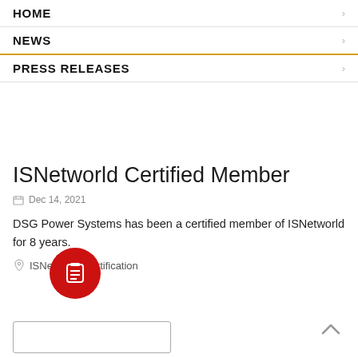HOME
NEWS
PRESS RELEASES
ISNetworld Certified Member
Dec 14, 2021
DSG Power Systems has been a certified member of ISNetworld for 8 years.
ISNetworld Certification